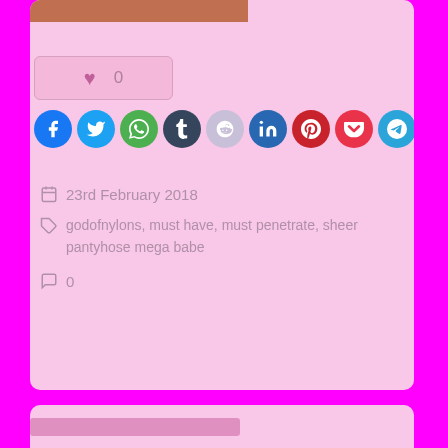[Figure (screenshot): Like button box showing heart icon and count of 0]
[Figure (infographic): Row of social media share icon circles: Facebook, Twitter, WhatsApp, Tumblr, Reddit, LinkedIn, Pinterest, Pocket, Telegram, Skype]
23rd February 2018
godofnylons, must have, must penetrate, sheer pantyhose mega babe
0